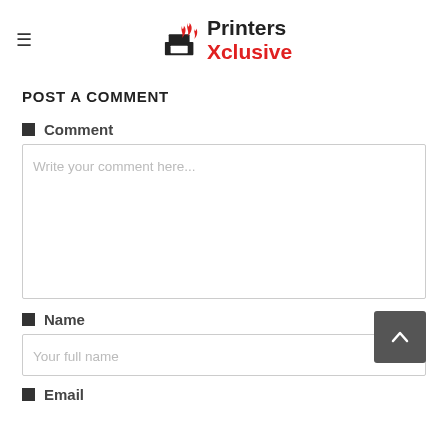≡  Printers Xclusive
POST A COMMENT
Comment
Write your comment here...
Name
Your full name
Email